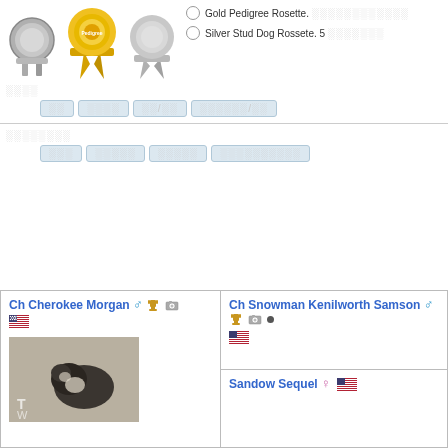[Figure (illustration): Three award medals/rosettes: silver medal left, gold pedigree rosette center, silver rosette right]
Gold Pedigree Rosette. [text in non-Latin script]
Silver Stud Dog Rossete. 5 [text in non-Latin script]
[non-Latin script label]
Tab buttons: [non-Latin] | [non-Latin] | [non-Latin/non-Latin] | [non-Latin/non-Latin]
[non-Latin script label - longer]
Tab buttons: [non-Latin] | [non-Latin] | [non-Latin] | [non-Latin]
Ch Cherokee Morgan ♂ 🏆 📷 [US flag]
[Figure (photo): Black and white photo of a Boston Terrier dog]
Ch Snowman Kenilworth Samson ♂ 🏆 📷 [US flag]
Sandow Sequel ♀ [US flag]